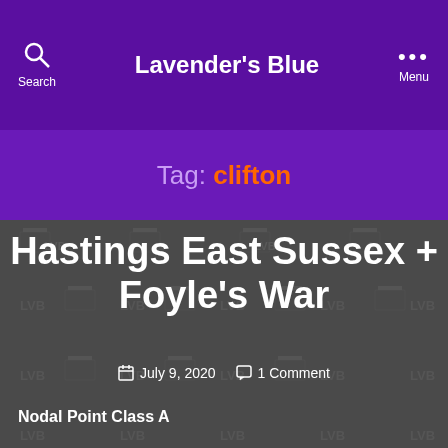Lavender's Blue
Tag: clifton
[Figure (screenshot): Blog post card with watermark pattern background (LVB logos and building icons) on dark gray background]
Hastings East Sussex + Foyle's War
July 9, 2020   1 Comment
Nodal Point Class A